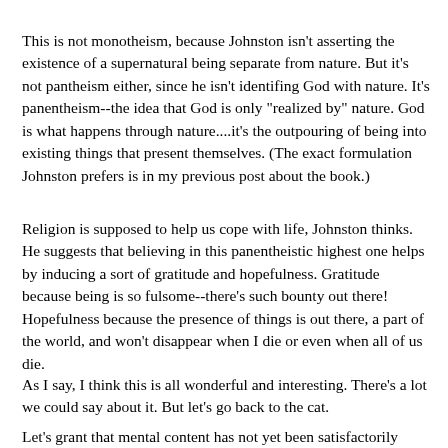This is not monotheism, because Johnston isn't asserting the existence of a supernatural being separate from nature. But it's not pantheism either, since he isn't identifing God with nature. It's panentheism--the idea that God is only "realized by" nature. God is what happens through nature....it's the outpouring of being into existing things that present themselves. (The exact formulation Johnston prefers is in my previous post about the book.)
Religion is supposed to help us cope with life, Johnston thinks. He suggests that believing in this panentheistic highest one helps by inducing a sort of gratitude and hopefulness. Gratitude because being is so fulsome--there's such bounty out there! Hopefulness because the presence of things is out there, a part of the world, and won't disappear when I die or even when all of us die.
As I say, I think this is all wonderful and interesting. There's a lot we could say about it. But let's go back to the cat.
Let's grant that mental content has not yet been satisfactorily